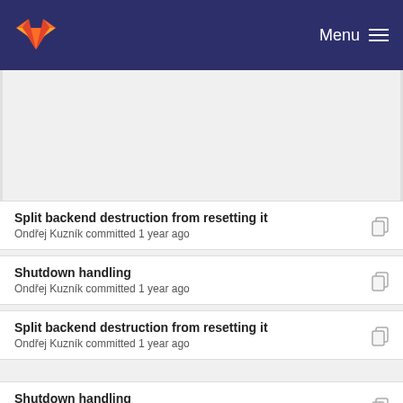Menu
Split backend destruction from resetting it — Ondřej Kuzník committed 1 year ago
Shutdown handling — Ondřej Kuzník committed 1 year ago
Split backend destruction from resetting it — Ondřej Kuzník committed 1 year ago
Shutdown handling — Ondřej Kuzník committed 1 year ago